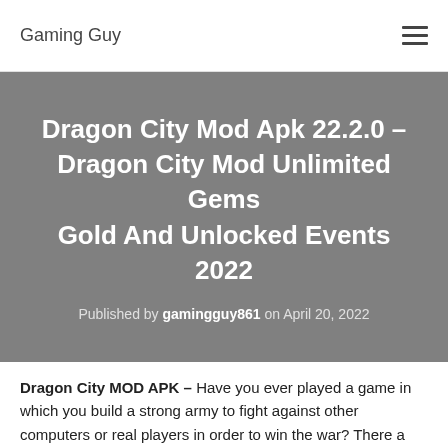Gaming Guy
Dragon City Mod Apk 22.2.0 – Dragon City Mod Unlimited Gems Gold And Unlocked Events 2022
Published by gamingguy861 on April 20, 2022
Dragon City MOD APK – Have you ever played a game in which you build a strong army to fight against other computers or real players in order to win the war? There are different armies and different players. Every player has the